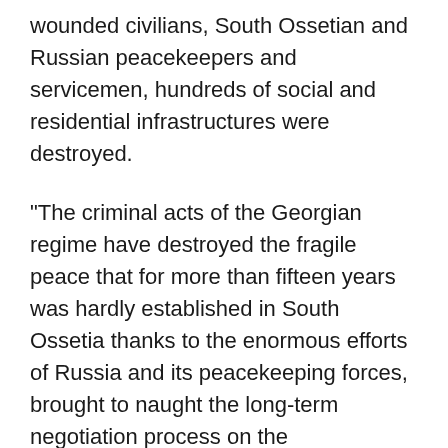wounded civilians, South Ossetian and Russian peacekeepers and servicemen, hundreds of social and residential infrastructures were destroyed.
"The criminal acts of the Georgian regime have destroyed the fragile peace that for more than fifteen years was hardly established in South Ossetia thanks to the enormous efforts of Russia and its peacekeeping forces, brought to naught the long-term negotiation process on the normalization of the Ossetian-Georgian relations. Georgia and its criminal regime bear full responsibility for the aggression against South Ossetia. This, in particular, was confirmed by the international commission to investigate the circumstances of the events of August 2008 under the Swiss chairmanship, "the press release says.
The diplomats have noted that despite the inexorable